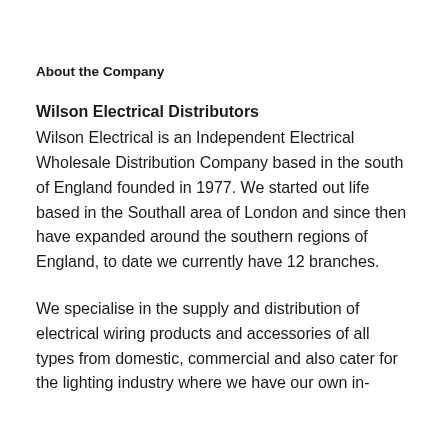About the Company
Wilson Electrical Distributors
Wilson Electrical is an Independent Electrical Wholesale Distribution Company based in the south of England founded in 1977. We started out life based in the Southall area of London and since then have expanded around the southern regions of England, to date we currently have 12 branches.
We specialise in the supply and distribution of electrical wiring products and accessories of all types from domestic, commercial and also cater for the lighting industry where we have our own in-